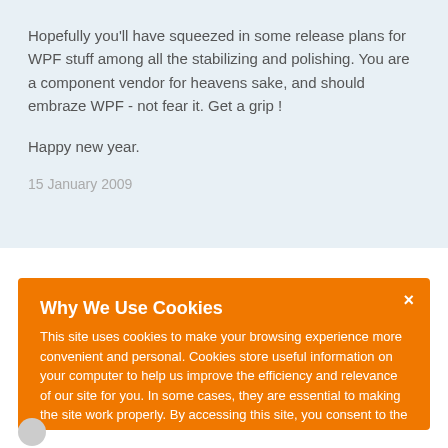Hopefully you'll have squeezed in some release plans for WPF stuff among all the stabilizing and polishing. You are a component vendor for heavens sake, and should embraze WPF - not fear it. Get a grip !

Happy new year.
15 January 2009
Why We Use Cookies
This site uses cookies to make your browsing experience more convenient and personal. Cookies store useful information on your computer to help us improve the efficiency and relevance of our site for you. In some cases, they are essential to making the site work properly. By accessing this site, you consent to the use of cookies. For more information, refer to DevExpress' privacy policy and cookie policy.